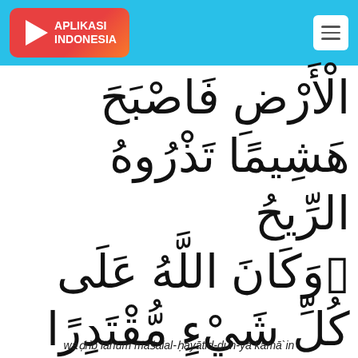APLIKASI INDONESIA
الْأَرْضِ فَاصْبَحَ هَشِيمًا تَذْرُوهُ الرِّيحُ ۗ وَكَانَ اللَّهُ عَلَىٰ كُلِّ شَيْءٍ مُّقْتَدِرًا
waḍrib lahum maṡalal-ḥayātid-dun-yā kamā`in